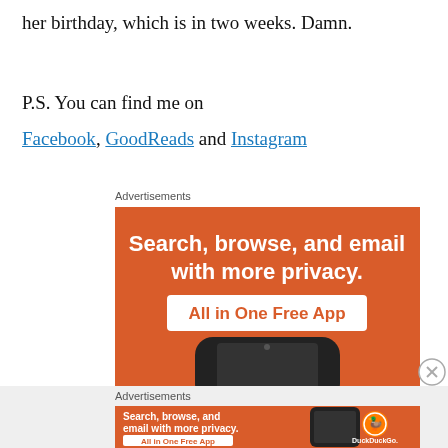her birthday, which is in two weeks. Damn.
P.S. You can find me on
Facebook, GoodReads and Instagram
Advertisements
[Figure (illustration): DuckDuckGo advertisement banner: orange background, white bold text reading 'Search, browse, and email with more privacy. All in One Free App', with a phone graphic at the bottom.]
Advertisements
[Figure (illustration): DuckDuckGo advertisement banner: orange background, white text 'Search, browse, and email with more privacy. All in One Free App', with a phone and DuckDuckGo logo on right.]